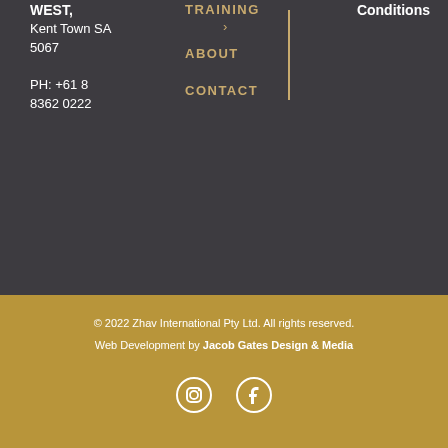WEST, Kent Town SA 5067
PH: +61 8 8362 0222
TRAINING
ABOUT
CONTACT
Conditions
© 2022 Zhav International Pty Ltd. All rights reserved. Web Development by Jacob Gates Design & Media
[Figure (other): Instagram and Facebook social media icons]